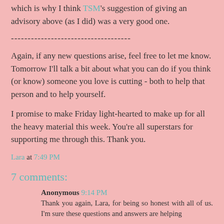which is why I think TSM's suggestion of giving an advisory above (as I did) was a very good one.
------------------------------------
Again, if any new questions arise, feel free to let me know. Tomorrow I'll talk a bit about what you can do if you think (or know) someone you love is cutting - both to help that person and to help yourself.
I promise to make Friday light-hearted to make up for all the heavy material this week. You're all superstars for supporting me through this. Thank you.
Lara at 7:49 PM
7 comments:
Anonymous 9:14 PM
Thank you again, Lara, for being so honest with all of us. I'm sure these questions and answers are helping